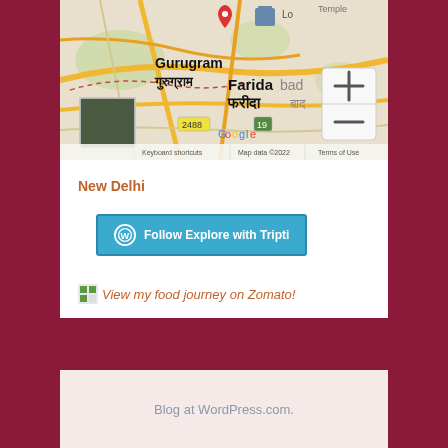[Figure (map): Google Maps screenshot showing Gurugram and Faridabad area near New Delhi, with zoom controls (+/-) and Google logo. Map data ©2022. Shows roads, green areas, with a location pin marker. Keyboard shortcuts and Terms of Use visible at bottom.]
New Delhi
[Figure (other): Follow button: WordPress icon circle followed by text 'Follow Explore with Tripti' on teal/blue background]
View my food journey on Zomato!
Blog at WordPress.com.